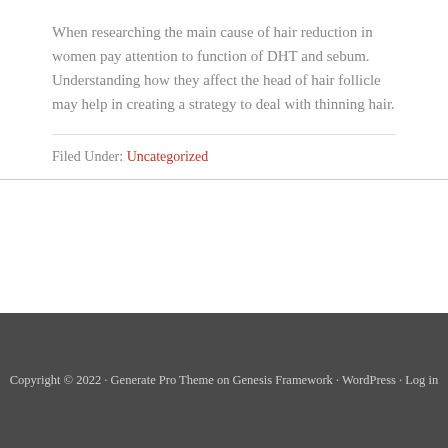When researching the main cause of hair reduction in women pay attention to function of DHT and sebum. Understanding how they affect the head of hair follicle may help in creating a strategy to deal with thinning hair.
Filed Under: Uncategorized
Copyright © 2022 · Generate Pro Theme on Genesis Framework · WordPress · Log in